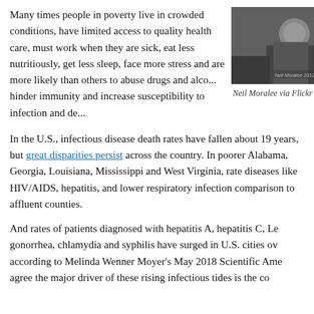Many times people in poverty live in crowded conditions, have limited access to quality health care, must work when they are sick, eat less nutritiously, get less sleep, face more stress and are more likely than others to abuse drugs and alcohol hinder immunity and increase susceptibility to infection and de...
[Figure (photo): Black and white photograph of a person in a dark environment, possibly depicting poverty or homelessness.]
Neil Moralee via Flickr
In the U.S., infectious disease death rates have fallen about 19 years, but great disparities persist across the country. In poorer Alabama, Georgia, Louisiana, Mississippi and West Virginia, rates diseases like HIV/AIDS, hepatitis, and lower respiratory infection comparison to affluent counties.
And rates of patients diagnosed with hepatitis A, hepatitis C, Le gonorrhea, chlamydia and syphilis have surged in U.S. cities ov according to Melinda Wenner Moyer's May 2018 Scientific Amer agree the major driver of these rising infectious tides is the co...